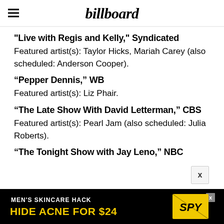billboard
"Live with Regis and Kelly," Syndicated
Featured artist(s): Taylor Hicks, Mariah Carey (also scheduled: Anderson Cooper).
“Pepper Dennis,” WB
Featured artist(s): Liz Phair.
“The Late Show With David Letterman,” CBS
Featured artist(s): Pearl Jam (also scheduled: Julia Roberts).
“The Tonight Show with Jay Leno,” NBC
[Figure (screenshot): Advertisement banner: MEN'S SKINCARE HACK HIDE ACNE FOR $24 with SPY logo]